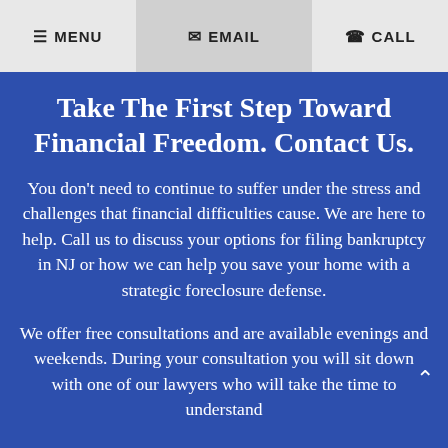≡ MENU  ✉ EMAIL  ☎ CALL
Take The First Step Toward Financial Freedom. Contact Us.
You don't need to continue to suffer under the stress and challenges that financial difficulties cause. We are here to help. Call us to discuss your options for filing bankruptcy in NJ or how we can help you save your home with a strategic foreclosure defense.
We offer free consultations and are available evenings and weekends. During your consultation you will sit down with one of our lawyers who will take the time to understand